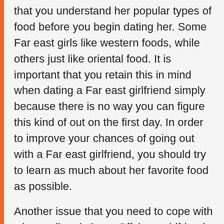that you understand her popular types of food before you begin dating her. Some Far east girls like western foods, while others just like oriental food. It is important that you retain this in mind when dating a Far east girlfriend simply because there is no way you can figure this kind of out on the first day. In order to improve your chances of going out with a Far east girlfriend, you should try to learn as much about her favorite food as possible.
Another issue that you need to cope with when online dating a Offshore girlfriend is the fact Chinese young women tend to always be very timid. They also usually be incredibly modest of their appearance, and tend to simply let their particular more attractive features show when